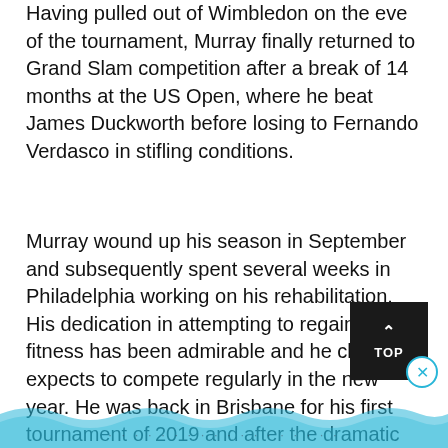Having pulled out of Wimbledon on the eve of the tournament, Murray finally returned to Grand Slam competition after a break of 14 months at the US Open, where he beat James Duckworth before losing to Fernando Verdasco in stifling conditions.
Murray wound up his season in September and subsequently spent several weeks in Philadelphia working on his rehabilitation. His dedication in attempting to regain his fitness has been admirable and he clearly expects to compete regularly in the new year. He was back in Brisbane for his first tournament of 2019 and after the dramatic emotional Australian Open he has decided on another hip operation.